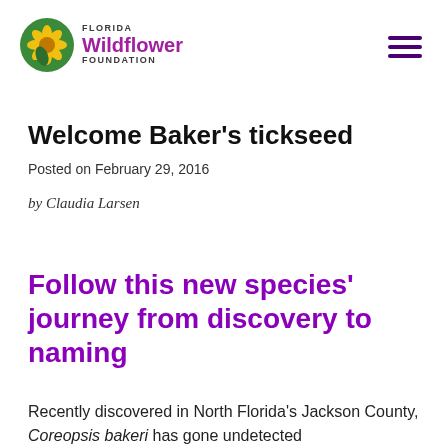[Figure (logo): Florida Wildflower Foundation logo with green circle containing a yellow flower, and text 'FLORIDA Wildflower FOUNDATION' in purple and dark gray]
Welcome Baker's tickseed
Posted on February 29, 2016
by Claudia Larsen
Follow this new species' journey from discovery to naming
Recently discovered in North Florida's Jackson County, Coreopsis bakeri has gone undetected